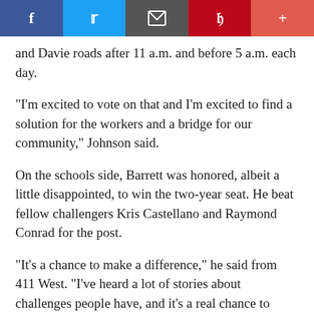[Figure (other): Social media sharing bar with Facebook, Twitter, Email, Pinterest, and More buttons]
and Davie roads after 11 a.m. and before 5 a.m. each day.
"I'm excited to vote on that and I'm excited to find a solution for the workers and a bridge for our community," Johnson said.
On the schools side, Barrett was honored, albeit a little disappointed, to win the two-year seat. He beat fellow challengers Kris Castellano and Raymond Conrad for the post.
"It's a chance to make a difference," he said from 411 West. "I've heard a lot of stories about challenges people have, and it's a real chance to make progress."
Chapel Hill/Carrboro Chamber of Commerce CEO